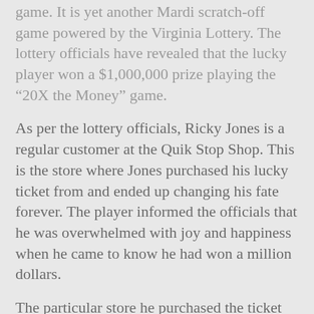game. It is yet another Mardi scratch-off game powered by the Virginia Lottery. The lottery officials have revealed that the lucky player won a $1,000,000 prize playing the “20X the Money” game.
As per the lottery officials, Ricky Jones is a regular customer at the Quik Stop Shop. This is the store where Jones purchased his lucky ticket from and ended up changing his fate forever. The player informed the officials that he was overwhelmed with joy and happiness when he came to know he had won a million dollars.
The particular store he purchased the ticket from is located at 26800 Highway 47, South Hill. The player informed the officials that the moment he scratched the ticket and saw his